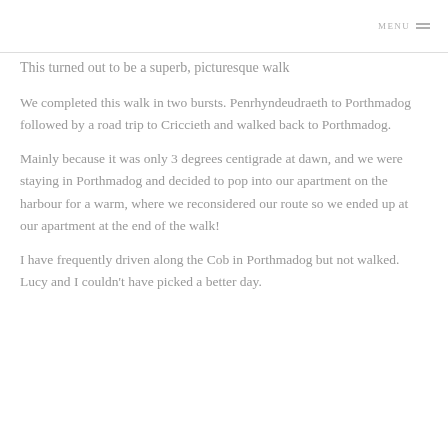MENU ≡
This turned out to be a superb, picturesque walk
We completed this walk in two bursts. Penrhyndeudraeth to Porthmadog followed by a road trip to Criccieth and walked back to Porthmadog.
Mainly because it was only 3 degrees centigrade at dawn, and we were staying in Porthmadog and decided to pop into our apartment on the harbour for a warm, where we reconsidered our route so we ended up at our apartment at the end of the walk!
I have frequently driven along the Cob in Porthmadog but not walked. Lucy and I couldn't have picked a better day.